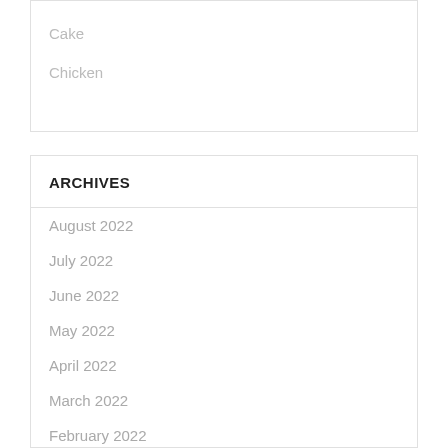Cake
Chicken
ARCHIVES
August 2022
July 2022
June 2022
May 2022
April 2022
March 2022
February 2022
January 2022